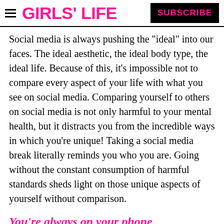GIRLS' LIFE  SUBSCRIBE
Social media is always pushing the "ideal" into our faces. The ideal aesthetic, the ideal body type, the ideal life. Because of this, it's impossible not to compare every aspect of your life with what you see on social media. Comparing yourself to others on social media is not only harmful to your mental health, but it distracts you from the incredible ways in which you're unique! Taking a social media break literally reminds you who you are. Going without the constant consumption of harmful standards sheds light on those unique aspects of yourself without comparison.
You're always on your phone